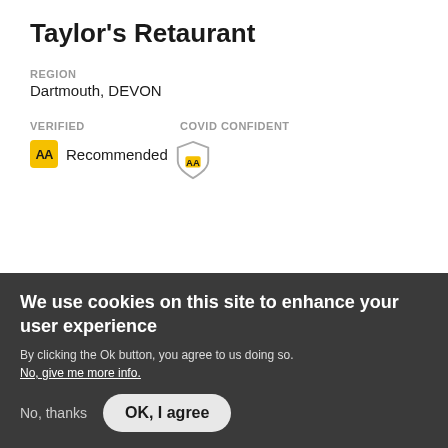Taylor's Retaurant
REGION
Dartmouth, DEVON
VERIFIED
COVID CONFIDENT
AA Recommended
Find out more ›
[Figure (photo): Partial view of a restaurant or exterior photo, light grey tones]
We use cookies on this site to enhance your user experience
By clicking the Ok button, you agree to us doing so.
No, give me more info.
No, thanks
OK, I agree